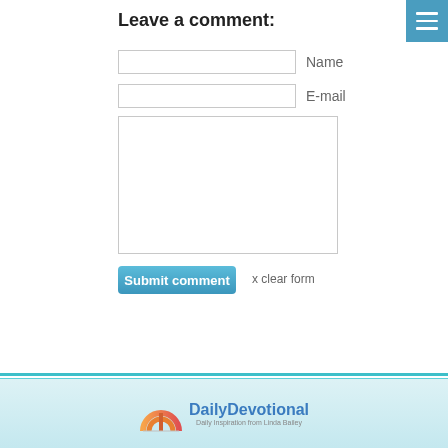Leave a comment:
Name
E-mail
Submit comment
x clear form
[Figure (logo): DailyDevotional logo with semicircle orange/red arch icon and blue text 'DailyDevotional' with tagline 'Daily Inspiration from Linda Bailey']